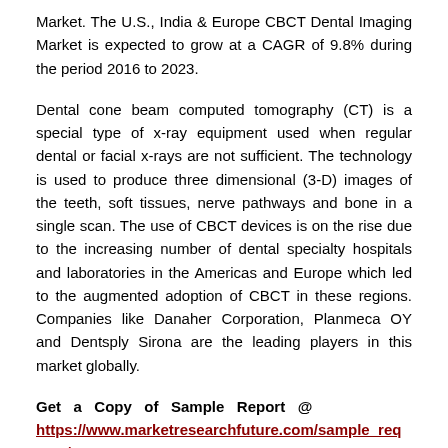Market. The U.S., India & Europe CBCT Dental Imaging Market is expected to grow at a CAGR of 9.8% during the period 2016 to 2023.
Dental cone beam computed tomography (CT) is a special type of x-ray equipment used when regular dental or facial x-rays are not sufficient. The technology is used to produce three dimensional (3-D) images of the teeth, soft tissues, nerve pathways and bone in a single scan. The use of CBCT devices is on the rise due to the increasing number of dental specialty hospitals and laboratories in the Americas and Europe which led to the augmented adoption of CBCT in these regions. Companies like Danaher Corporation, Planmeca OY and Dentsply Sirona are the leading players in this market globally.
Get a Copy of Sample Report @ https://www.marketresearchfuture.com/sample_request/2539